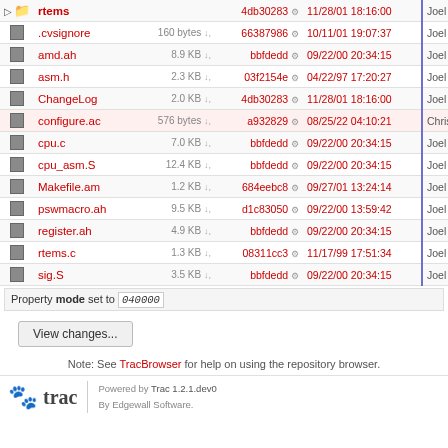|  | Name | Size |  | Hash |  | Date | Author |
| --- | --- | --- | --- | --- | --- | --- | --- |
| ▷ 📁 | rtems |  |  | 4db30283 |  | 11/28/01 18:16:00 | Joel Sherrill |
| 📄 | .cvsignore | 160 bytes | ↓, | 66387986 |  | 10/11/01 19:07:37 | Joel Sherrill |
| 📄 | amd.ah | 8.9 KB | ↓, | bbfdedd |  | 09/22/00 20:34:15 | Joel Sherrill |
| 📄 | asm.h | 2.3 KB | ↓, | 03f2154e |  | 04/22/97 17:20:27 | Joel Sherrill |
| 📄 | ChangeLog | 2.0 KB | ↓, | 4db30283 |  | 11/28/01 18:16:00 | Joel Sherrill |
| 📄 | configure.ac | 576 bytes | ↓, | a932829 |  | 08/25/22 04:10:21 | Chris Johns |
| 📄 | cpu.c | 7.0 KB | ↓, | bbfdedd |  | 09/22/00 20:34:15 | Joel Sherrill |
| 📄 | cpu_asm.S | 12.4 KB | ↓, | bbfdedd |  | 09/22/00 20:34:15 | Joel Sherrill |
| 📄 | Makefile.am | 1.2 KB | ↓, | 684eebc8 |  | 09/27/01 13:24:14 | Joel Sherrill |
| 📄 | pswmacro.ah | 9.5 KB | ↓, | d1c83050 |  | 09/22/00 13:59:42 | Joel Sherrill |
| 📄 | register.ah | 4.9 KB | ↓, | bbfdedd |  | 09/22/00 20:34:15 | Joel Sherrill |
| 📄 | rtems.c | 1.3 KB | ↓, | 08311cc3 |  | 11/17/99 17:51:34 | Joel Sherrill |
| 📄 | sig.S | 3.5 KB | ↓, | bbfdedd |  | 09/22/00 20:34:15 | Joel Sherrill |
Property mode set to 040000
View changes...
Note: See TracBrowser for help on using the repository browser.
Powered by Trac 1.2.1.dev0 By Edgewall Software.